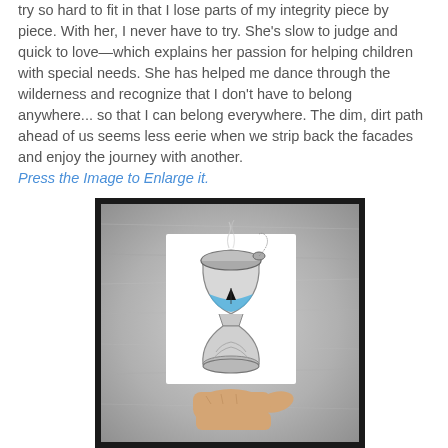try so hard to fit in that I lose parts of my integrity piece by piece. With her, I never have to try. She's slow to judge and quick to love—which explains her passion for helping children with special needs. She has helped me dance through the wilderness and recognize that I don't have to belong anywhere... so that I can belong everywhere. The dim, dirt path ahead of us seems less eerie when we strip back the facades and enjoy the journey with another.
Press the Image to Enlarge it.
[Figure (photo): A hand holding a small illustrated card showing an hourglass with blue water/ocean inside and a small sailboat, with the top open like a lid. Background is a silver/grey metallic textured surface. The photo is framed with a thick black border.]